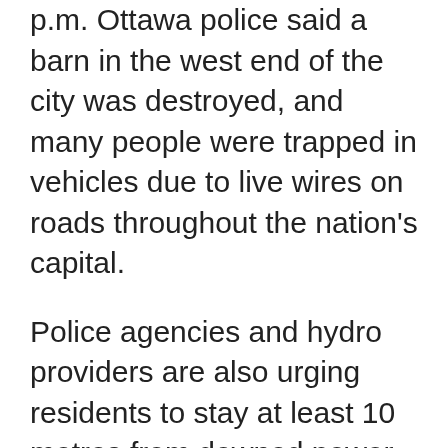p.m. Ottawa police said a barn in the west end of the city was destroyed, and many people were trapped in vehicles due to live wires on roads throughout the nation's capital.
Police agencies and hydro providers are also urging residents to stay at least 10 metres from downed power lines as they may be carrying live electricity.
Both Hydro Quebec and Hydro Ottawa reported outages affecting more than 170,000 customers. Hydro One, which provides power to residents in rural parts of Ontario, reported that over 260,000 customers were without power as of early Sunday morning.
In Durham Region, Ont., just east of Toronto,